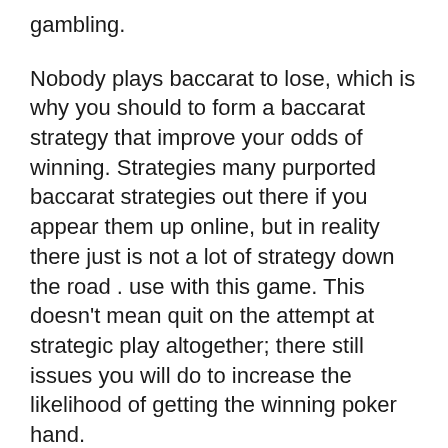gambling.
Nobody plays baccarat to lose, which is why you should to form a baccarat strategy that improve your odds of winning. Strategies many purported baccarat strategies out there if you appear them up online, but in reality there just is not a lot of strategy down the road . use with this game. This doesn’t mean quit on the attempt at strategic play altogether; there still issues you will do to increase the likelihood of getting the winning poker hand.
Once you’ve chosen a system be certain to set cash and time limits. Keep in mind the longer you have fun playing the more likely you in order to lose. Visit my how does a